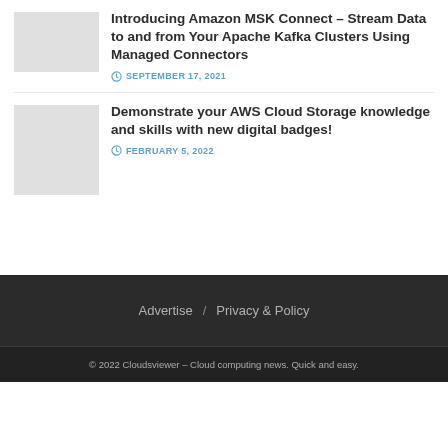Introducing Amazon MSK Connect – Stream Data to and from Your Apache Kafka Clusters Using Managed Connectors
SEPTEMBER 17, 2021
Demonstrate your AWS Cloud Storage knowledge and skills with new digital badges!
FEBRUARY 5, 2022
Advertise / Privacy & Policy
© 2022 Cloudsviewer – Cloud computing news. Quick and easy.